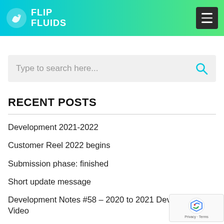FLIP FLUIDS
Type to search here...
RECENT POSTS
Development 2021-2022
Customer Reel 2022 begins
Submission phase: finished
Short update message
Development Notes #58 – 2020 to 2021 Development Video